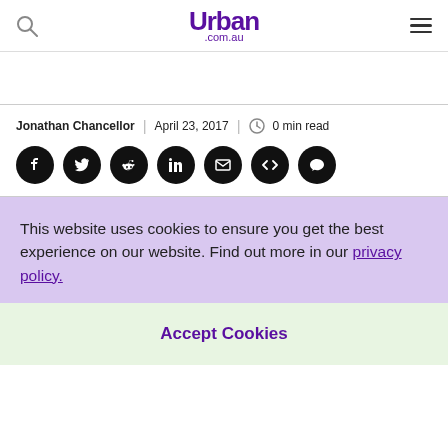Urban .com.au
Jonathan Chancellor | April 23, 2017 | 0 min read
[Figure (other): Social share buttons: Facebook, Twitter, Reddit, LinkedIn, Email, Code/Embed, Comment]
This website uses cookies to ensure you get the best experience on our website. Find out more in our privacy policy.
Accept Cookies